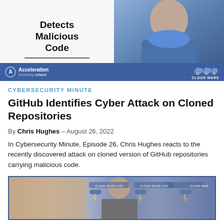[Figure (screenshot): Video thumbnail showing a man in a blue shirt with text 'Detects Malicious Code' on the left side, and an Acceleration Economy / Cloud Wars branded blue bar at the bottom]
CYBERSECURITY MINUTE
GitHub Identifies Cyber Attack on Cloned Repositories
By Chris Hughes – August 26, 2022
In Cybersecurity Minute, Episode 26, Chris Hughes reacts to the recently discovered attack on cloned version of GitHub repositories carrying malicious code.
[Figure (screenshot): Photo of a man in a suit at a Cloud Wars live event with Cloud Wars logos on backdrop banners]